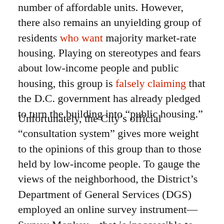number of affordable units. However, there also remains an unyielding group of residents who want majority market-rate housing. Playing on stereotypes and fears about low-income people and public housing, this group is falsely claiming that the D.C. government has already pledged to turn the building into “public housing.”
Unfortunately, the City’s official “consultation system” gives more weight to the opinions of this group than to those held by low-income people. To gauge the views of the neighborhood, the District’s Department of General Services (DGS) employed an online survey instrument—Survey Monkey—that is inaccessible to many low-income people and seniors. It also didn’t restrict the number of times a person could respond. Although the government will also consider opinions expressed at